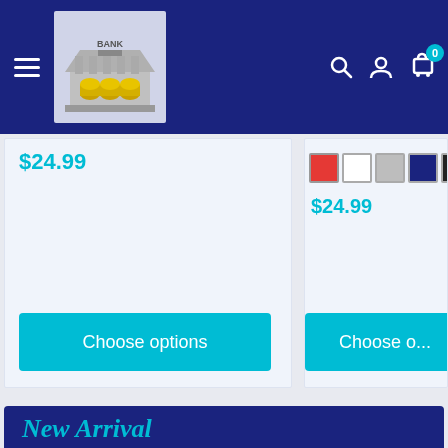[Figure (screenshot): E-commerce website navbar with dark navy blue background, hamburger menu icon on left, bank logo image in center-left, and search/account/cart icons on the right. Cart shows badge with '0'.]
$24.99
$24.99
[Figure (other): Color swatches showing red, white, gray, navy, and black options for a product.]
Choose options
Choose o...
New Arrival
New on the list